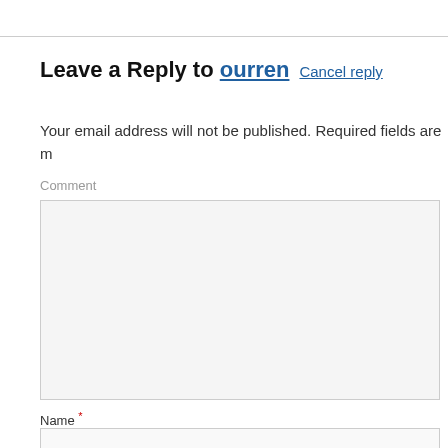Leave a Reply to ourren  Cancel reply
Your email address will not be published. Required fields are m
Comment
Name *